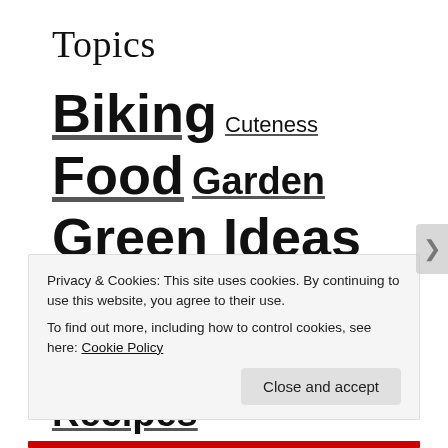Topics
Biking Cuteness Food Garden Green Ideas Health House My Life Not Green Other Recipes Uncategorized
Privacy & Cookies: This site uses cookies. By continuing to use this website, you agree to their use.
To find out more, including how to control cookies, see here: Cookie Policy
Close and accept